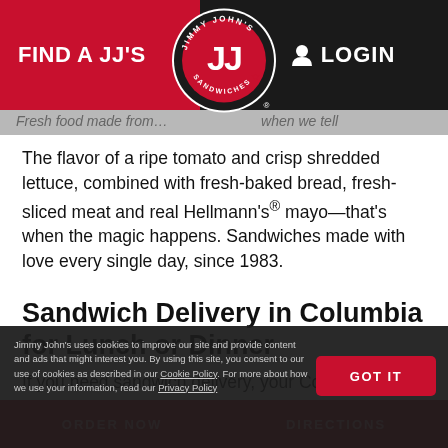FIND A JJ'S   LOGIN
[Figure (logo): Jimmy John's circular logo with red background and JJ letters in white/red]
Fresh food made from...when we tell
The flavor of a ripe tomato and crisp shredded lettuce, combined with fresh-baked bread, fresh-sliced meat and real Hellmann's® mayo—that's when the magic happens. Sandwiches made with love every single day, since 1983.
Sandwich Delivery in Columbia for Lunch or Dinner
If you need sandwich delivery, your Columbia Jimmy John's has you covered. We'll even deliver one sandwich.
Jimmy John's uses cookies to improve our site and provide content and ads that might interest you. By using this site, you consent to our use of cookies as described in our Cookie Policy. For more about how we use your information, read our Privacy Policy